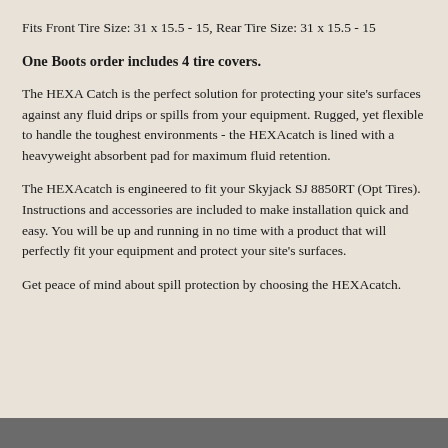Fits Front Tire Size: 31 x 15.5 - 15, Rear Tire Size: 31 x 15.5 - 15
One Boots order includes 4 tire covers.
The HEXA Catch is the perfect solution for protecting your site's surfaces against any fluid drips or spills from your equipment. Rugged, yet flexible to handle the toughest environments - the HEXAcatch is lined with a heavyweight absorbent pad for maximum fluid retention.
The HEXAcatch is engineered to fit your Skyjack SJ 8850RT (Opt Tires). Instructions and accessories are included to make installation quick and easy. You will be up and running in no time with a product that will perfectly fit your equipment and protect your site's surfaces.
Get peace of mind about spill protection by choosing the HEXAcatch.